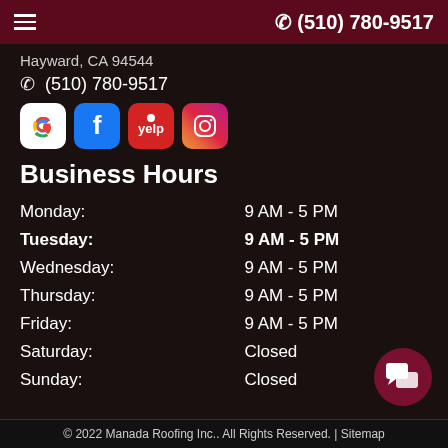(510) 780-9517
Hayward, CA 94544
(510) 780-9517
[Figure (logo): Social media icons: Google, Facebook, Yelp, Instagram]
Business Hours
| Day | Hours |
| --- | --- |
| Monday: | 9 AM - 5 PM |
| Tuesday: | 9 AM - 5 PM |
| Wednesday: | 9 AM - 5 PM |
| Thursday: | 9 AM - 5 PM |
| Friday: | 9 AM - 5 PM |
| Saturday: | Closed |
| Sunday: | Closed |
© 2022 Manada Roofing Inc.. All Rights Reserved. | Sitemap